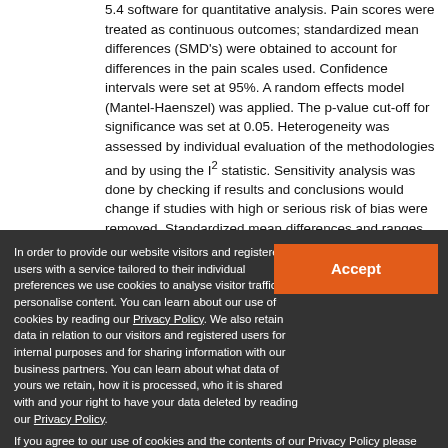5.4 software for quantitative analysis. Pain scores were treated as continuous outcomes; standardized mean differences (SMD's) were obtained to account for differences in the pain scales used. Confidence intervals were set at 95%. A random effects model (Mantel-Haenszel) was applied. The p-value cut-off for significance was set at 0.05. Heterogeneity was assessed by individual evaluation of the methodologies and by using the I² statistic. Sensitivity analysis was done by checking if results and conclusions would change if studies with high or serious risk of bias were removed. Standardized mean differences and ranges were back-transformed to mean differences in the 10-point visual
In order to provide our website visitors and registered users with a service tailored to their individual preferences we use cookies to analyse visitor traffic and personalise content. You can learn about our use of cookies by reading our Privacy Policy. We also retain data in relation to our visitors and registered users for internal purposes and for sharing information with our business partners. You can learn about what data of yours we retain, how it is processed, who it is shared with and your right to have your data deleted by reading our Privacy Policy. If you agree to our use of cookies and the contents of our Privacy Policy please click 'accept'.